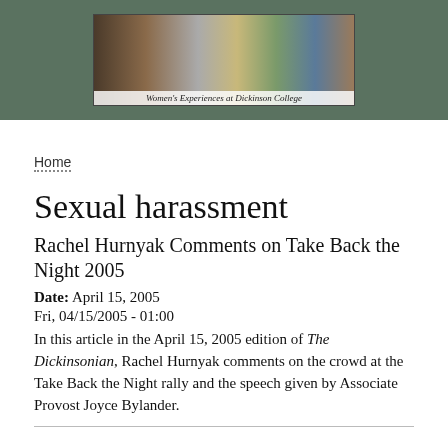[Figure (photo): Banner image for Women's Experiences at Dickinson College website, showing collage of people with caption text overlay]
Home
Sexual harassment
Rachel Hurnyak Comments on Take Back the Night 2005
Date:  April 15, 2005
Fri, 04/15/2005 - 01:00
In this article in the April 15, 2005 edition of The Dickinsonian, Rachel Hurnyak comments on the crowd at the Take Back the Night rally and the speech given by Associate Provost Joyce Bylander.